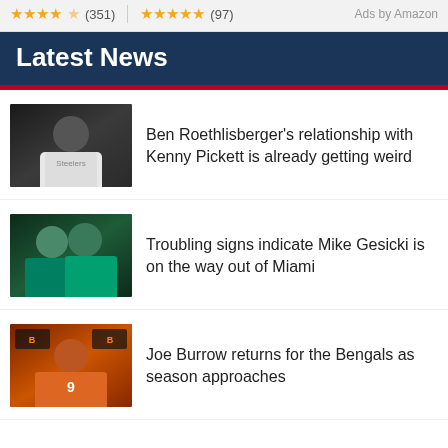★★★★☆ (351)   ★★★★★ (97)
Ads by Amazon
Latest News
[Figure (photo): Ben Roethlisberger in Pittsburgh Steelers white jersey and black beanie hat, looking to the side]
Ben Roethlisberger's relationship with Kenny Pickett is already getting weird
[Figure (photo): Two Miami Dolphins players in teal jerseys, photographed at night or indoor stadium]
Troubling signs indicate Mike Gesicki is on the way out of Miami
[Figure (photo): Joe Burrow in orange Bengals jersey at press conference with Bengals logos in background]
Joe Burrow returns for the Bengals as season approaches